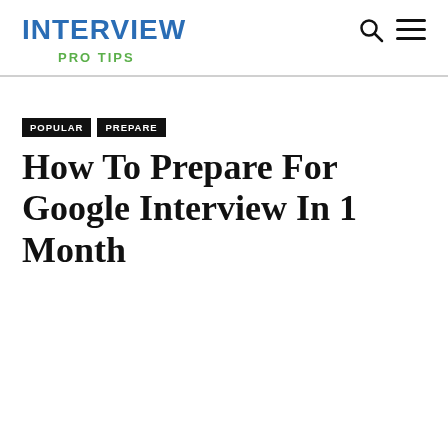INTERVIEW PRO TIPS
POPULAR  PREPARE
How To Prepare For Google Interview In 1 Month